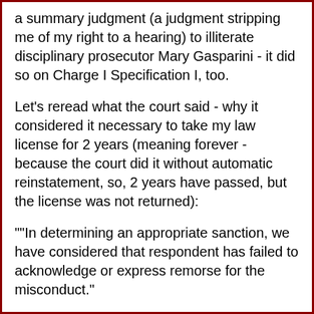a summary judgment (a judgment stripping me of my right to a hearing) to illiterate disciplinary prosecutor Mary Gasparini - it did so on Charge I Specification I, too.
Let's reread what the court said - why it considered it necessary to take my law license for 2 years (meaning forever - because the court did it without automatic reinstatement, so, 2 years have passed, but the license was not returned):
""In determining an appropriate sanction, we have considered that respondent has failed to acknowledge or express remorse for the misconduct."
Charge I Specification I charged me for NOT committing a crime on two occasions.
I did not acknowledged misconduct for not committi